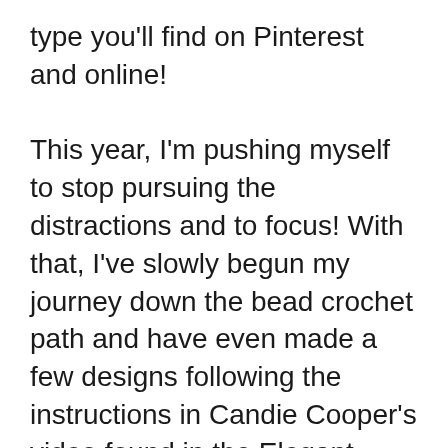type you'll find on Pinterest and online!

This year, I'm pushing myself to stop pursuing the distractions and to focus! With that, I've slowly begun my journey down the bead crochet path and have even made a few designs following the instructions in Candie Cooper's video found in the Elegant Bead Crochet Necklace Kit. Also in this video bundle is Judith Durant's Tunisian bead crochet video. Today I'm excited to share with you a bead crochet project from my friends Bert and Dana Freed, the mother-and-daughter creative team behind The Well Done Experience.Together they design and create beautiful jewelry, sell finished